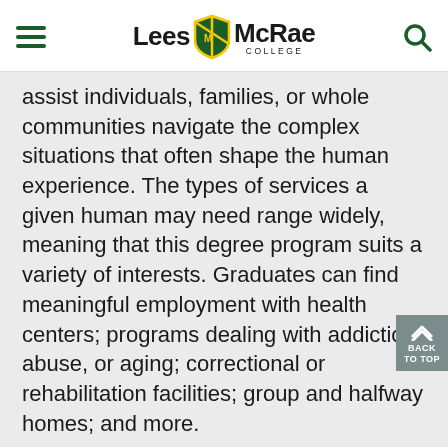Lees McRae College
assist individuals, families, or whole communities navigate the complex situations that often shape the human experience. The types of services a given human may need range widely, meaning that this degree program suits a variety of interests. Graduates can find meaningful employment with health centers; programs dealing with addiction, abuse, or aging; correctional or rehabilitation facilities; group and halfway homes; and more.
The 60-credit-hour Human Services degree program builds on your